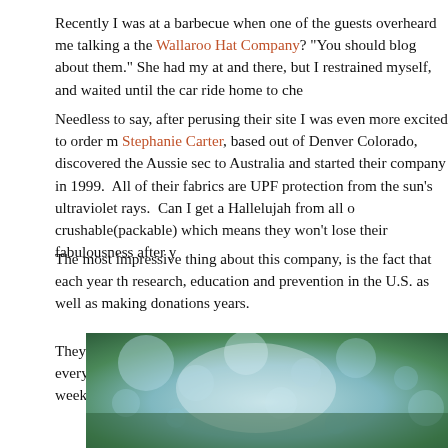Recently I was at a barbecue when one of the guests overheard me talking about the Wallaroo Hat Company? "You should blog about them." She had my attention and there, but I restrained myself, and waited until the car ride home to che...
Needless to say, after perusing their site I was even more excited to order m... Stephanie Carter, based out of Denver Colorado, discovered the Aussie sec... to Australia and started their company in 1999. All of their fabrics are UPF... protection from the sun's ultraviolet rays. Can I get a Hallelujah from all o... crushable(packable) which means they won't lose their fabulousness after y...
The most impressive thing about this company, is the fact that each year th... research, education and prevention in the U.S. as well as making donations... years.
They have something for everyone, from adults to toddlers and every hat ha... fits most. So after you are done laboring this weekend go to their site and r... will thank you for it!
[Figure (photo): Blurred outdoor photo with bokeh effect showing green foliage and light blue/teal tones]